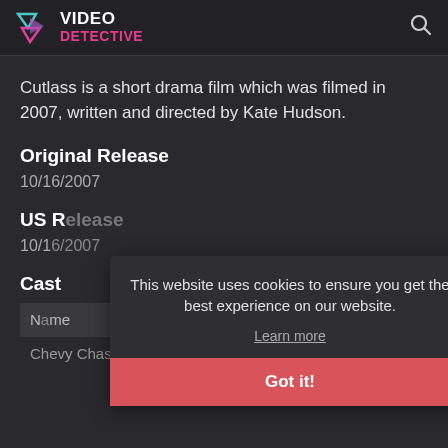VIDEO DETECTIVE
Cutlass is a short drama film which was filmed in 2007, written and directed by Kate Hudson.
Original Release
10/16/2007
US Release
10/16/2007
Cast
| Name | Character |
| --- | --- |
| Chevy Chase | Stan |
This website uses cookies to ensure you get the best experience on our website.
Learn more
Got it!